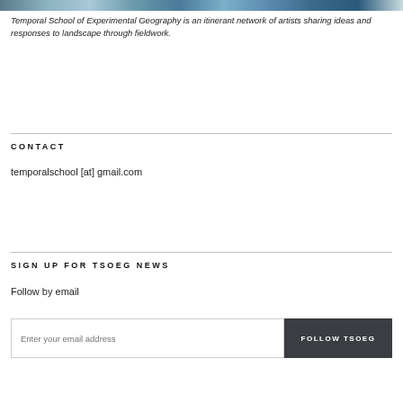[Figure (photo): A photo strip of a landscape/mountain scene in blue-grey tones at the top of the page]
Temporal School of Experimental Geography is an itinerant network of artists sharing ideas and responses to landscape through fieldwork.
CONTACT
temporalschool [at] gmail.com
SIGN UP FOR TSOEG NEWS
Follow by email